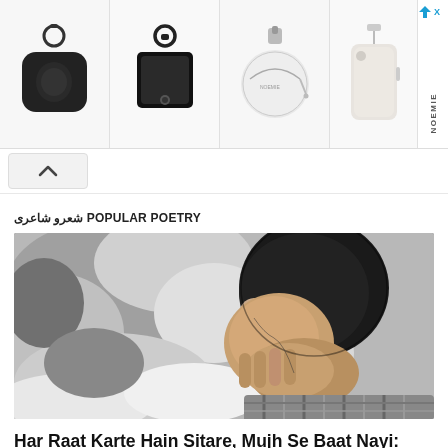[Figure (photo): Advertisement banner showing four leather accessories with keyrings from brand NOEMIE, with a sponsored arrow icon top right]
[Figure (illustration): A black and white illustrated/artistic image of a man with his head bowed down, looking sorrowful, with abstract grey and white background]
شعرو شاعری POPULAR POETRY
Har Raat Karte Hain Sitare, Mujh Se Baat Nayi: Urdu Ghazal by Numan Ijaz